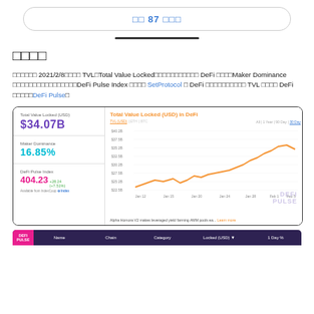□□ 87 □□□
□□□□
□□□□□□ 2021/2/8□□□□ TVL□Total Value Locked□□□□□□□□□□□ DeFi □□□□Maker Dominance □□□□□□□□□□□□□□□□DeFi Pulse Index □□□□ SetProtocol □ DeFi □□□□□□□□□□ TVL □□□□ DeFi □□□□□DeFi Pulse□
[Figure (line-chart): Total Value Locked (USD) in DeFi]
| DEFI PULSE | Name | Chain | Category | Locked (USD) ▼ | 1 Day % |
| --- | --- | --- | --- | --- | --- |